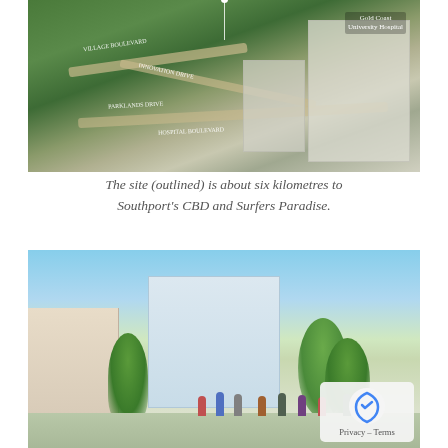[Figure (photo): Aerial/bird's-eye view photograph of a suburban area showing roads labeled Village Boulevard, Innovation Drive, Parklands Drive, Hospital Boulevard, and a building labeled Gold Coast University Hospital. A site is outlined in the image.]
The site (outlined) is about six kilometres to Southport's CBD and Surfers Paradise.
[Figure (illustration): Street-level architectural rendering of a pedestrian plaza with trees, modern buildings, outdoor seating, and people walking. A Privacy–Terms badge from Google Maps is visible in the bottom right corner.]